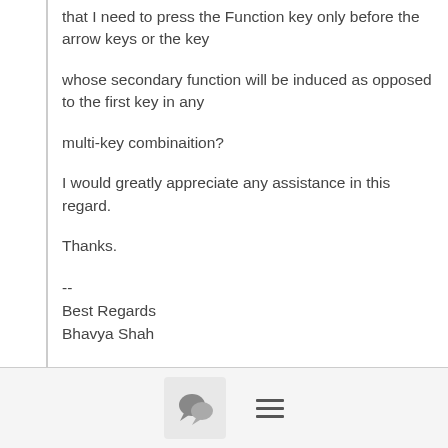that I need to press the Function key only before the arrow keys or the key
whose secondary function will be induced as opposed to the first key in any
multi-key combinaition?
I would greatly appreciate any assistance in this regard.
Thanks.
--
Best Regards
Bhavya Shah
Blogger at Hiking Across Horizons:
https://bhavyashah125.wordpress.com/